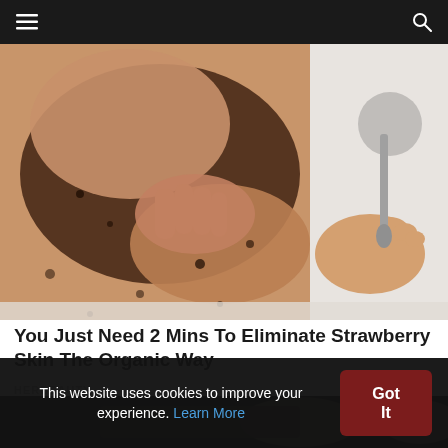Navigation bar with hamburger menu and search icon
[Figure (photo): A person applying dark coffee scrub on their legs in a bathtub, shown from waist down with feet and a shower hose visible in the background. The scrub is dark brown/black against skin tones.]
You Just Need 2 Mins To Eliminate Strawberry Skin The Organic Way
HERBEAUTY
[Figure (photo): Partially visible second article image, dark toned with indistinct content.]
This website uses cookies to improve your experience. Learn More